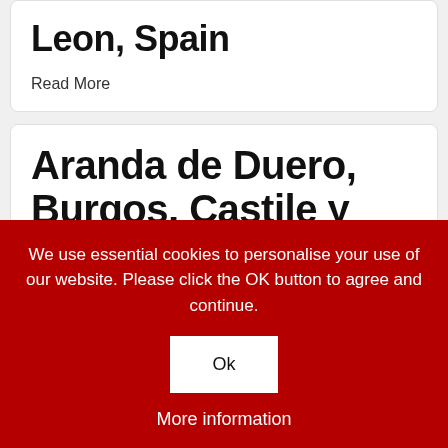Leon, Spain
Read More
Aranda de Duero, Burgos, Castile y Leon, Spain
We use essential cookies to personalise your use of our website. Please click the OK button to agree and continue.
Ok
More information